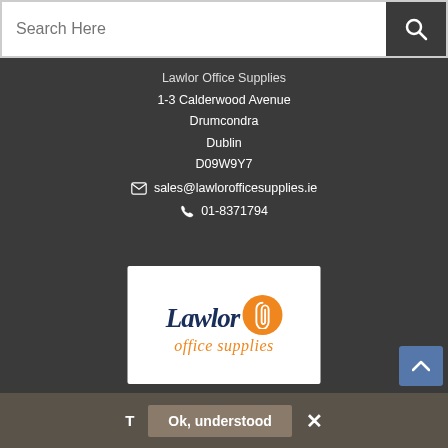Search Here
Lawlor Office Supplies
1-3 Calderwood Avenue
Drumcondra
Dublin
D09W9Y7
sales@lawlorofficesupplies.ie
01-8371794
[Figure (logo): Lawlor Office Supplies logo: dark navy italic 'Lawlor' text with orange circle containing a paper clip icon, and orange cursive 'office supplies' below]
T   Ok, understood   ×